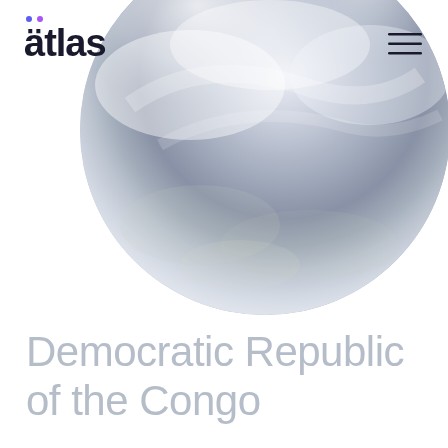[Figure (logo): Atlas app logo with two dots (blue and purple) above the 'a' in 'atlas', bold dark text]
[Figure (illustration): Large circular globe/satellite image of the Democratic Republic of the Congo region, showing cloud cover and terrain in grey-blue tones, partially cropped at top-right]
Democratic Republic of the Congo